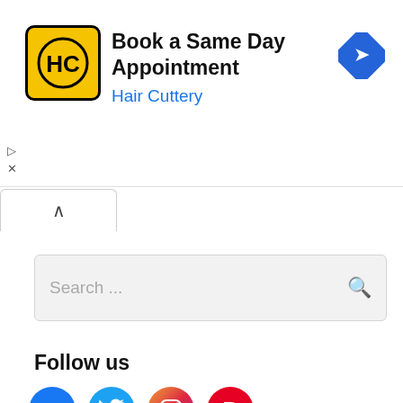[Figure (screenshot): Advertisement banner for Hair Cuttery with logo, text 'Book a Same Day Appointment / Hair Cuttery', and a blue diamond navigation arrow icon]
[Figure (screenshot): Search bar UI element with placeholder text 'Search ...' and a search magnifier icon]
Follow us
[Figure (infographic): Four social media icons: Facebook (blue circle with f), Twitter (blue circle with bird), Instagram (pink/red circle with camera), Pinterest (red circle with P)]
Baby (11)
Clothing (5)
Furniture (1)